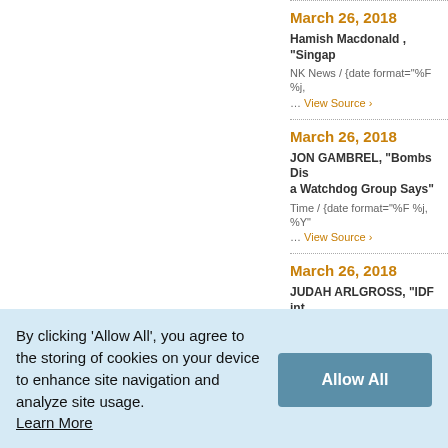March 26, 2018
Hamish Macdonald , "Singap...
NK News / {date format="%F %j,...
... View Source ›
March 26, 2018
JON GAMBREL, "Bombs Dis... a Watchdog Group Says"
Time / {date format="%F %j, %Y"...
... View Source ›
March 26, 2018
JUDAH ARLGROSS, "IDF int...
By clicking 'Allow All', you agree to the storing of cookies on your device to enhance site navigation and analyze site usage. Learn More
Allow All